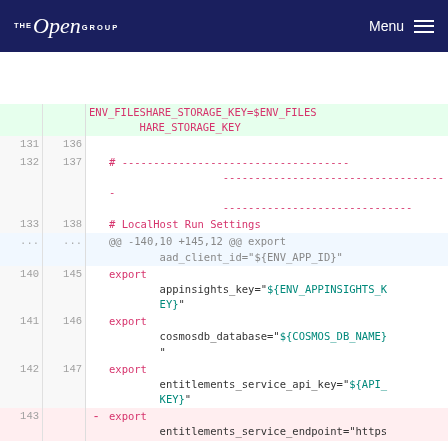The Open Group — Menu
[Figure (screenshot): Code diff view showing shell script changes. Lines 131-143 with additions and removals of export statements for environment variables including ENV_FILESHARE_STORAGE_KEY, appinsights_key, cosmosdb_database, entitlements_service_api_key, and entitlements_service_endpoint. Comments and hunk headers visible.]